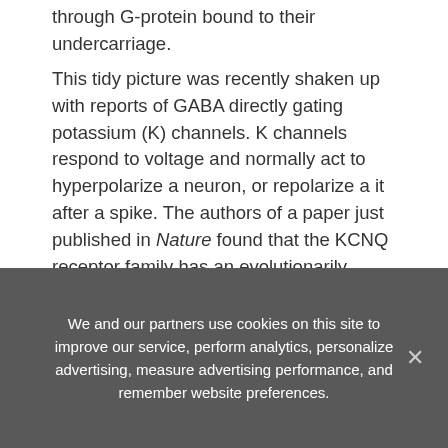through G-protein bound to their undercarriage.
This tidy picture was recently shaken up with reports of GABA directly gating potassium (K) channels. K channels respond to voltage and normally act to hyperpolarize a neuron, or repolarize a it after a spike. The authors of a paper just published in Nature found that the KCNQ receptor family has an evolutionarily conserved spot set aside just for GABA. When GABA is present there, the voltage set point of these channels is shifted to a more polarized state.
KCNQ channels carry the so-called ‘M’ current, which can be triggered by the agonist muscarine. Because of this
We and our partners use cookies on this site to improve our service, perform analytics, personalize advertising, measure advertising performance, and remember website preferences.